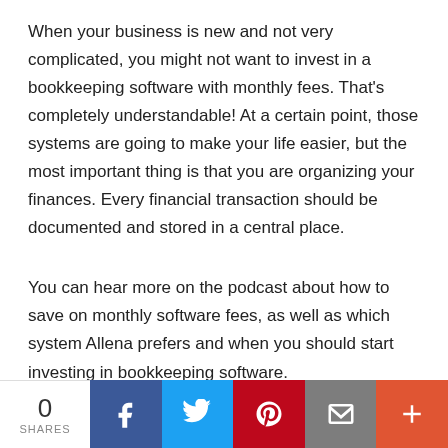When your business is new and not very complicated, you might not want to invest in a bookkeeping software with monthly fees. That's completely understandable! At a certain point, those systems are going to make your life easier, but the most important thing is that you are organizing your finances. Every financial transaction should be documented and stored in a central place.
You can hear more on the podcast about how to save on monthly software fees, as well as which system Allena prefers and when you should start investing in bookkeeping software.
[Figure (infographic): Social share bar with 0 shares count, Facebook, Twitter, Pinterest, Email, and More (+) buttons]